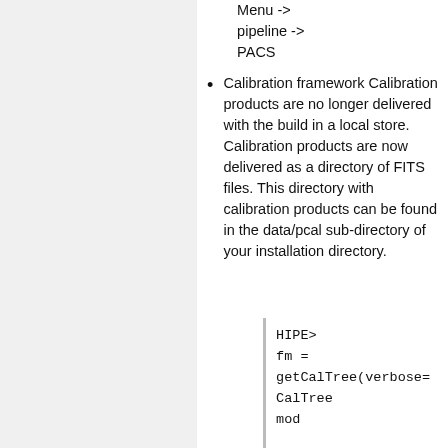HIPE -> Menu -> pipeline -> PACS
Calibration framework Calibration products are no longer delivered with the build in a local store. Calibration products are now delivered as a directory of FITS files. This directory with calibration products can be found in the data/pcal sub-directory of your installation directory.
HIPE>
fm =
getCalTree(verbose=
CalTree
mod